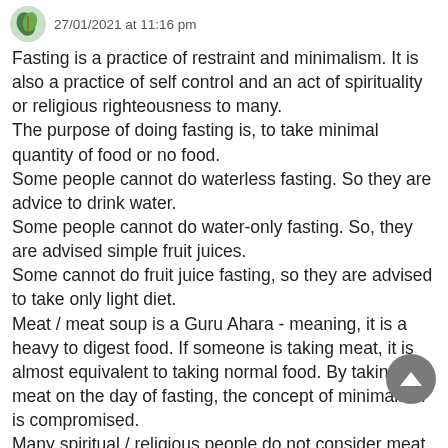27/01/2021 at 11:16 pm
Fasting is a practice of restraint and minimalism. It is also a practice of self control and an act of spirituality or religious righteousness to many.
The purpose of doing fasting is, to take minimal quantity of food or no food.
Some people cannot do waterless fasting. So they are advice to drink water.
Some people cannot do water-only fasting. So, they are advised simple fruit juices.
Some cannot do fruit juice fasting, so they are advised to take only light diet.
Meat / meat soup is a Guru Ahara - meaning, it is a heavy to digest food. If someone is taking meat, it is almost equivalent to taking normal food. By taking meat on the day of fasting, the concept of minimalism is compromised.
Many spiritual / religious people do not consider meat as Satvic or carrying positive energy. Hence, fasting day, being a spiritual day, meat is advised to be avoided.
Ghee cannot be compared with animal fat, because the animal is not killed for obtaining ghee. It is just the byproduct...